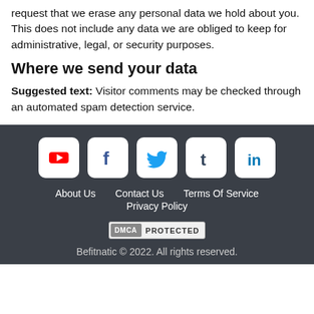request that we erase any personal data we hold about you. This does not include any data we are obliged to keep for administrative, legal, or security purposes.
Where we send your data
Suggested text: Visitor comments may be checked through an automated spam detection service.
[Figure (infographic): Social media icon buttons: YouTube, Facebook, Twitter, Tumblr, LinkedIn]
About Us   Contact Us   Terms Of Service   Privacy Policy   DMCA PROTECTED   Befitnatic © 2022. All rights reserved.